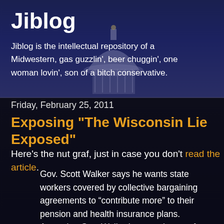Jiblog
Jiblog is the intellectual repository of a Midwestern, gas guzzlin', beer chuggin', one woman lovin', son of a bitch conservative.
Friday, February 25, 2011
Exposing "The Wisconsin Lie Exposed"
Here's the nut graf, just in case you don't read the article.
Gov. Scott Walker says he wants state workers covered by collective bargaining agreements to “contribute more” to their pension and health insurance plans. Accepting Gov. Walker’ s assertions as fact, and failing to check, creates the impression that somehow the workers are